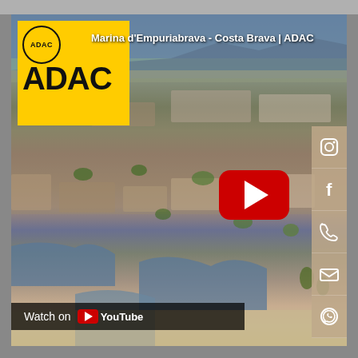[Figure (screenshot): YouTube video thumbnail for 'Marina d'Empuriabrava - Costa Brava | ADAC' showing an aerial view of the marina town with canals, buildings, and coastline. The ADAC logo (yellow box with black text and circle badge) is in the top-left. A red YouTube play button is centered. Social media icons (Instagram, Facebook, phone, email, WhatsApp) appear on the right sidebar. A 'Watch on YouTube' bar appears at the bottom-left.]